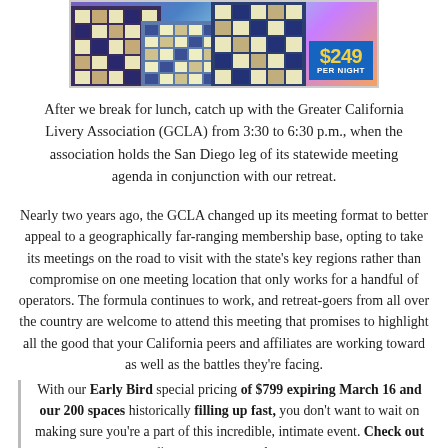[Figure (photo): Hotel building exterior at night with colorful lighting, showing a price badge of $249 per night in the lower right corner]
After we break for lunch, catch up with the Greater California Livery Association (GCLA) from 3:30 to 6:30 p.m., when the association holds the San Diego leg of its statewide meeting agenda in conjunction with our retreat.
Nearly two years ago, the GCLA changed up its meeting format to better appeal to a geographically far-ranging membership base, opting to take its meetings on the road to visit with the state's key regions rather than compromise on one meeting location that only works for a handful of operators. The formula continues to work, and retreat-goers from all over the country are welcome to attend this meeting that promises to highlight all the good that your California peers and affiliates are working toward as well as the battles they're facing.
With our Early Bird special pricing of $799 expiring March 16 and our 200 spaces historically filling up fast, you don't want to wait on making sure you're a part of this incredible, intimate event. Check out sandiegoretreat.com to learn more